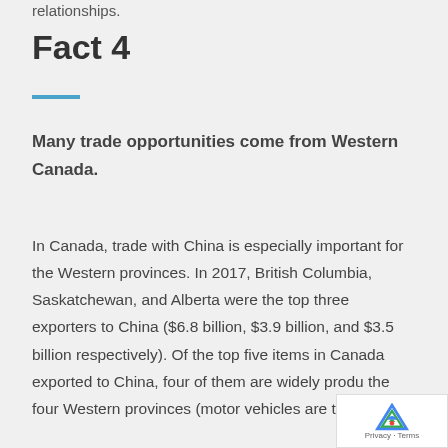relationships.
Fact 4
Many trade opportunities come from Western Canada.
In Canada, trade with China is especially important for the Western provinces. In 2017, British Columbia, Saskatchewan, and Alberta were the top three exporters to China ($6.8 billion, $3.9 billion, and $3.5 billion respectively). Of the top five items in Canada exported to China, four of them are widely produced in the four Western provinces (motor vehicles are t…